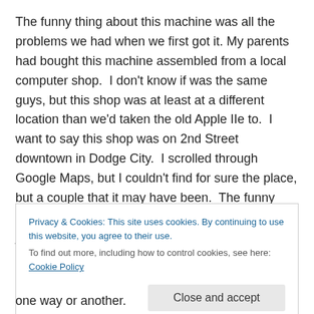The funny thing about this machine was all the problems we had when we first got it. My parents had bought this machine assembled from a local computer shop.  I don't know if was the same guys, but this shop was at least at a different location than we'd taken the old Apple IIe to.  I want to say this shop was on 2nd Street downtown in Dodge City.  I scrolled through Google Maps, but I couldn't find for sure the place, but a couple that it may have been.  The funny part, was when we took the computer in after we just couldn't stand the freezing anymore.  While
Privacy & Cookies: This site uses cookies. By continuing to use this website, you agree to their use.
To find out more, including how to control cookies, see here: Cookie Policy
one way or another.